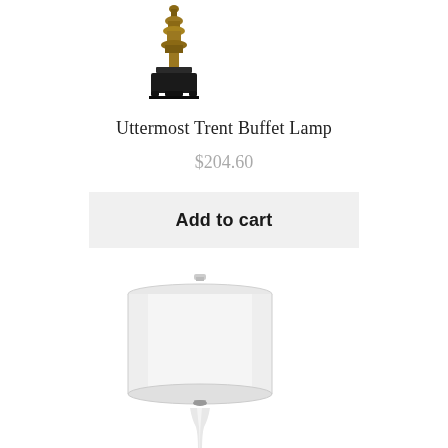[Figure (photo): Small bronze/antique finish buffet lamp base with ornate turned column and square stepped base, shown without shade]
Uttermost Trent Buffet Lamp
$204.60
Add to cart
[Figure (photo): White modern table lamp with large white cylindrical drum shade and slim curved white base, shown partially cropped at bottom of page]